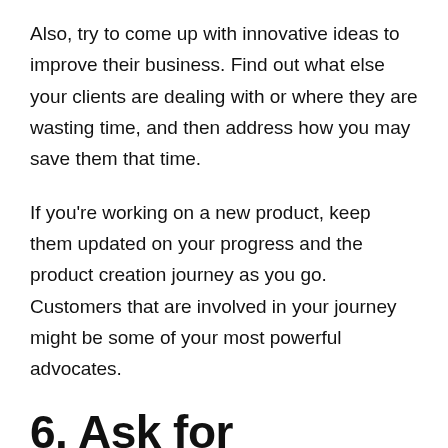Also, try to come up with innovative ideas to improve their business. Find out what else your clients are dealing with or where they are wasting time, and then address how you may save them that time.
If you're working on a new product, keep them updated on your progress and the product creation journey as you go. Customers that are involved in your journey might be some of your most powerful advocates.
6. Ask for referrals
Word of mouth is far more effective than regular